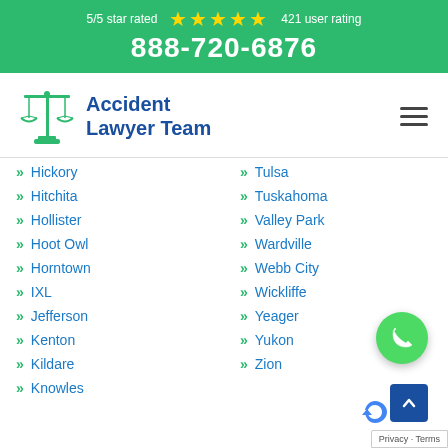5/5 star rated ★★★★★ 421 user rating 888-720-6876
[Figure (logo): Accident Lawyer Team logo with scales of justice icon and blue text]
Hickory
Hitchita
Hollister
Hoot Owl
Horntown
IXL
Jefferson
Kenton
Kildare
Knowles
Tulsa
Tuskahoma
Valley Park
Wardville
Webb City
Wickliffe
Yeager
Yukon
Zion